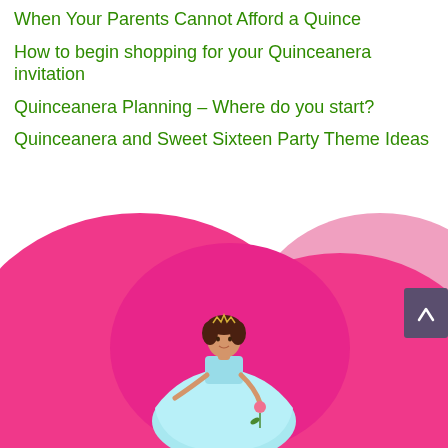When Your Parents Cannot Afford a Quince
How to begin shopping for your Quinceanera invitation
Quinceanera Planning – Where do you start?
Quinceanera and Sweet Sixteen Party Theme Ideas
[Figure (illustration): Decorative illustration of overlapping pink cloud/hill shapes with a cartoon girl wearing a light blue quinceañera dress and tiara, holding a rose, standing in front of the pink background. A purple scroll-to-top button appears in the lower right.]